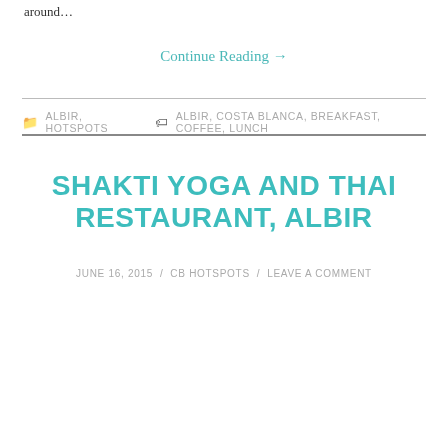around…
Continue Reading →
ALBIR, HOTSPOTS   ALBIR, COSTA BLANCA, BREAKFAST, COFFEE, LUNCH
SHAKTI YOGA AND THAI RESTAURANT, ALBIR
JUNE 16, 2015 / CB HOTSPOTS / LEAVE A COMMENT